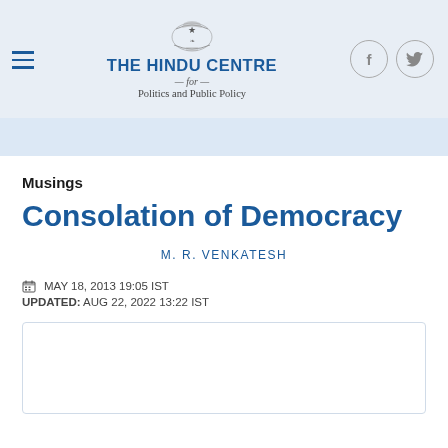THE HINDU CENTRE for Politics and Public Policy
Musings
Consolation of Democracy
M. R. VENKATESH
MAY 18, 2013 19:05 IST
UPDATED: AUG 22, 2022 13:22 IST
[Figure (other): Empty bordered content box]